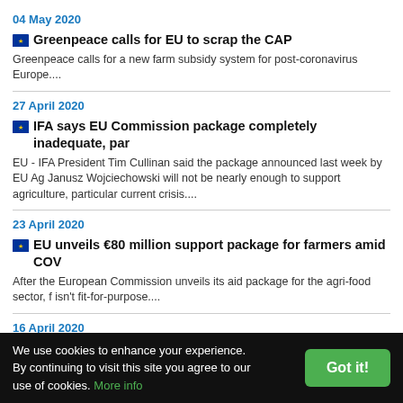04 May 2020
Greenpeace calls for EU to scrap the CAP
Greenpeace calls for a new farm subsidy system for post-coronavirus Europe....
27 April 2020
IFA says EU Commission package completely inadequate, par
EU - IFA President Tim Cullinan said the package announced last week by EU Ag Janusz Wojciechowski will not be nearly enough to support agriculture, particular current crisis....
23 April 2020
EU unveils €80 million support package for farmers amid COV
After the European Commission unveils its aid package for the agri-food sector, f isn't fit-for-purpose....
16 April 2020
EU auditors take first steps to mitigate the COVID-19 pandemi
We use cookies to enhance your experience. By continuing to visit this site you agree to our use of cookies. More info